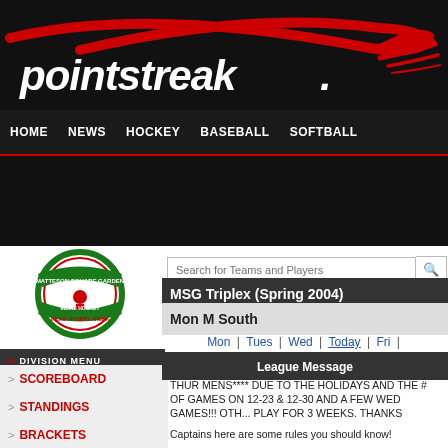[Figure (logo): Pointstreak logo with red swoosh on black background]
HOME | NEWS | HOCKEY | BASEBALL | SOFTBALL
[Figure (logo): Matteson Square Garden Inline Hockey Arena circular logo]
MSG Triplex (Spring 2004)
Mon M South
SCOREBOARD
STANDINGS
BRACKETS
Mon | Tues | Wed | Today | Fri
League Message
THUR MENS**** DUE TO THE HOLIDAYS AND THE # OF GAMES ON 12-23 & 12-30 AND A FEW WED GAMES!!! OTH... PLAY FOR 3 WEEKS. THANKS
Captains here are some rules you should know!